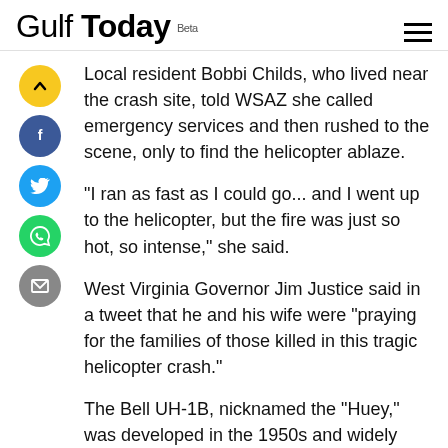Gulf Today Beta
Local resident Bobbi Childs, who lived near the crash site, told WSAZ she called emergency services and then rushed to the scene, only to find the helicopter ablaze.
"I ran as fast as I could go... and I went up to the helicopter, but the fire was just so hot, so intense," she said.
West Virginia Governor Jim Justice said in a tweet that he and his wife were "praying for the families of those killed in this tragic helicopter crash."
The Bell UH-1B, nicknamed the "Huey," was developed in the 1950s and widely used by the